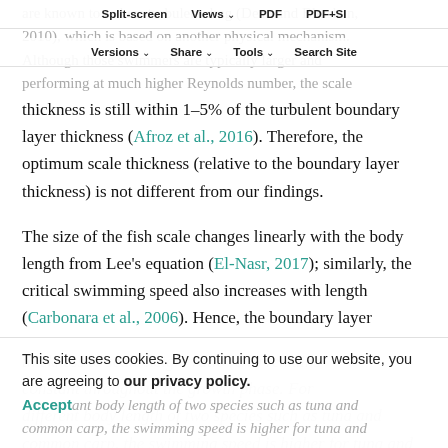Split-screen | Views | PDF | PDF+SI
Versions | Share | Tools | Search Site
are known to reduce turbulent drag (Dean and Bhushan, 2010), which is based on another physical mechanism. Although those swimmers are typically larger and performing at much higher Reynolds number, the scale thickness is still within 1–5% of the turbulent boundary layer thickness (Afroz et al., 2016). Therefore, the optimum scale thickness (relative to the boundary layer thickness) is not different from our findings.
The size of the fish scale changes linearly with the body length from Lee's equation (El-Nasr, 2017); similarly, the critical swimming speed also increases with length (Carbonara et al., 2006). Hence, the boundary layer thickness to scale height ratio (δ/h) remains constant throughout the growth phase. For different body length of two species such as tuna and common carp, the swimming speed is higher for tuna and
This site uses cookies. By continuing to use our website, you are agreeing to our privacy policy. Accept